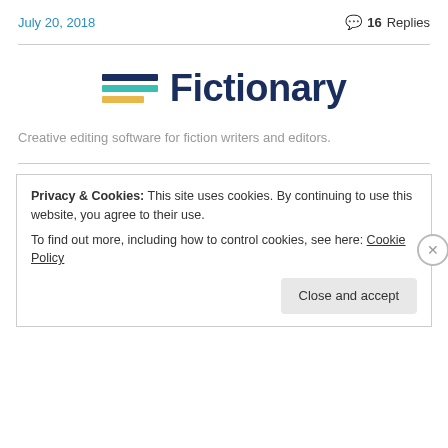July 20, 2018
16 Replies
[Figure (logo): Fictionary logo with three horizontal colored lines (dark navy, teal, yellow-orange) and the word 'Fictionary' in bold dark navy text]
Creative editing software for fiction writers and editors.
Privacy & Cookies: This site uses cookies. By continuing to use this website, you agree to their use.
To find out more, including how to control cookies, see here: Cookie Policy
Close and accept